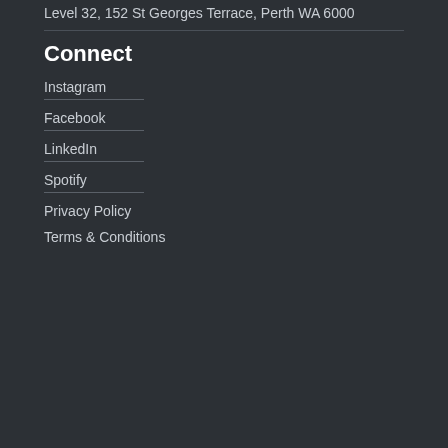Level 32, 152 St Georges Terrace, Perth WA 6000
Connect
Instagram
Facebook
LinkedIn
Spotify
Privacy Policy
Terms & Conditions